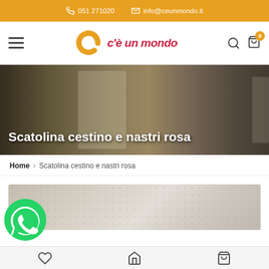051 271020   info@ceunmondo.it
[Figure (logo): C'è un mondo logo with orange spiral C and red italic text]
[Figure (photo): Store interior with clothing display, mannequin with grey knit top, shelves with products]
Scatolina cestino e nastri rosa
Home > Scatolina cestino e nastri rosa
[Figure (photo): Product image - light beige textured fabric/paper background]
[Figure (illustration): WhatsApp green circular button with phone handset icon]
Heart icon, Home icon, Cart icon - bottom navigation bar